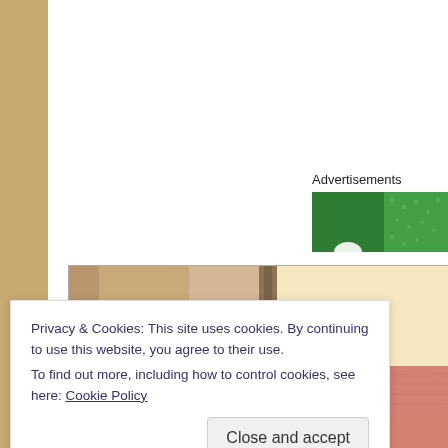Advertisements
[Figure (photo): Green advertisement banner with partial circular logo element visible]
[Figure (photo): Photo showing cardboard boxes/bags, a dark object, and a pink/red paper or card surface, with a bottom strip showing partial handwritten text reading 'FOOL THAT YOU DI...']
Privacy & Cookies: This site uses cookies. By continuing to use this website, you agree to their use.
To find out more, including how to control cookies, see here: Cookie Policy
Close and accept